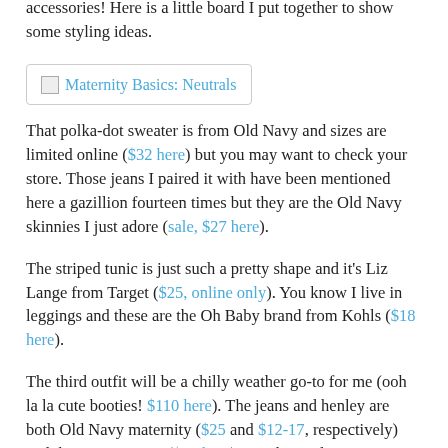accessories! Here is a little board I put together to show some styling ideas.
[Figure (other): Image placeholder labeled 'Maternity Basics: Neutrals']
That polka-dot sweater is from Old Navy and sizes are limited online ($32 here) but you may want to check your store. Those jeans I paired it with have been mentioned here a gazillion fourteen times but they are the Old Navy skinnies I just adore (sale, $27 here).
The striped tunic is just such a pretty shape and it's Liz Lange from Target ($25, online only). You know I live in leggings and these are the Oh Baby brand from Kohls ($18 here).
The third outfit will be a chilly weather go-to for me (ooh la la cute booties! $110 here). The jeans and henley are both Old Navy maternity ($25 and $12-17, respectively) and the vest is H&M ($60 here). It's obviously not maternity but it can be worn open and then tied up when the belly fits it again.